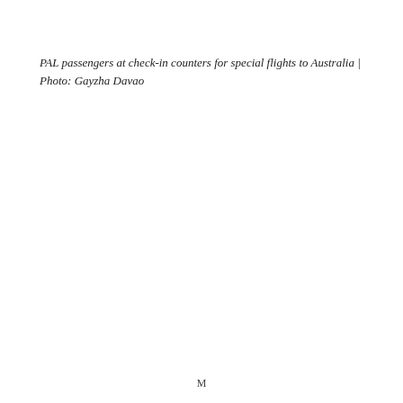PAL passengers at check-in counters for special flights to Australia | Photo: Gayzha Davao
M